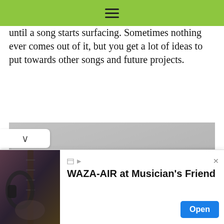☰
until a song starts surfacing. Sometimes nothing ever comes out of it, but you get a lot of ideas to put towards other songs and future projects.
[Figure (photo): Black and white photo of a musician sitting in a room with graffiti text on the wall behind them. The graffiti appears to spell out a band name.]
[Figure (photo): Advertisement image showing a guitar with headphones - BOSS x Musician's Friend ad for WAZA-AIR]
WAZA-AIR at Musician's Friend
BOSS x Musician's Friend